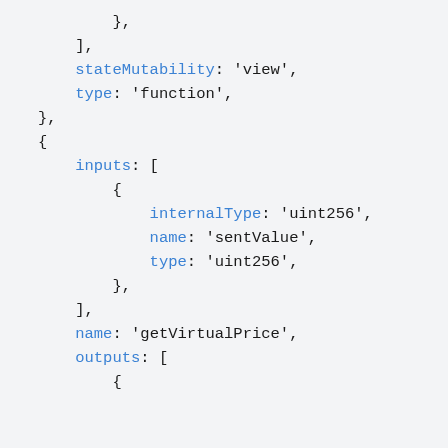}, ], stateMutability: 'view', type: 'function', }, { inputs: [ { internalType: 'uint256', name: 'sentValue', type: 'uint256', }, ], name: 'getVirtualPrice', outputs: [ {